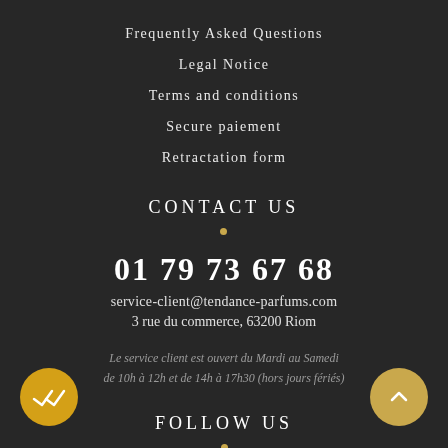Frequently Asked Questions
Legal Notice
Terms and conditions
Secure paiement
Retractation form
CONTACT US
01 79 73 67 68
service-client@tendance-parfums.com
3 rue du commerce, 63200 Riom
Le service client est ouvert du Mardi au Samedi de 10h à 12h et de 14h à 17h30 (hors jours fériés)
FOLLOW US